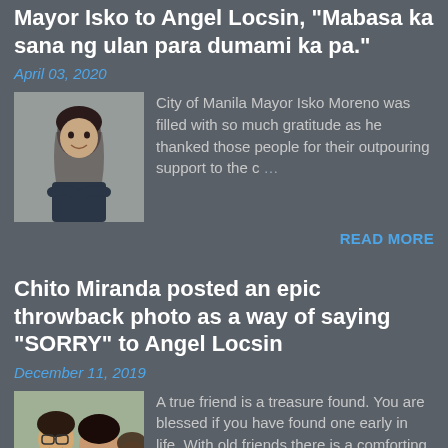Mayor Isko to Angel Locsin, "Mabasa ka sana ng ulan para dumami ka pa."
April 03, 2020
[Figure (photo): Photo of a woman smiling, wearing a dark jacket, arms crossed]
City of Manila Mayor Isko Moreno was filled with so much gratitude as he thanked those people for their outpouring support to the c …
READ MORE
Chito Miranda posted an epic throwback photo as a way of saying “SORRY” to Angel Locsin
December 11, 2019
[Figure (photo): Photo of two people taking a selfie together]
A true friend is a treasure found. You are blessed if you have found one early in life. With old friends there is a comforting familiarit …